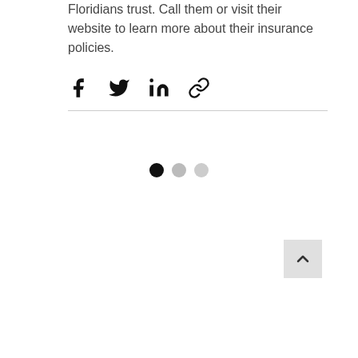Floridians trust. Call them or visit their website to learn more about their insurance policies.
[Figure (infographic): Social share icons: Facebook, Twitter, LinkedIn, Link/copy]
[Figure (infographic): Pagination dots: three dots, first filled black, second and third grey]
[Figure (infographic): Back to top button: grey square with upward chevron arrow]